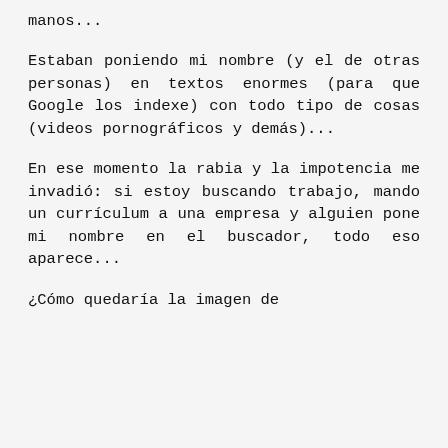manos...
Estaban poniendo mi nombre (y el de otras personas) en textos enormes (para que Google los indexe) con todo tipo de cosas (videos pornográficos y demás)...
En ese momento la rabia y la impotencia me invadió: si estoy buscando trabajo, mando un currículum a una empresa y alguien pone mi nombre en el buscador, todo eso aparece...
¿Cómo quedaría la imagen de